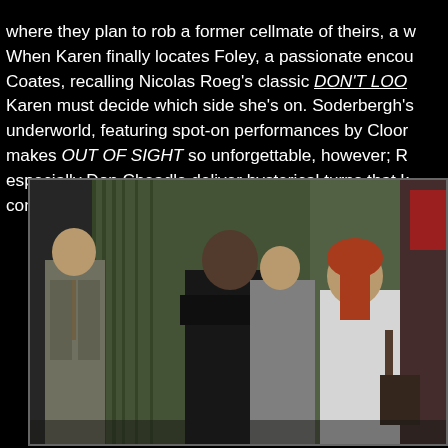where they plan to rob a former cellmate of theirs, a w When Karen finally locates Foley, a passionate encou Coates, recalling Nicolas Roeg's classic DON'T LOO Karen must decide which side she's on. Soderbergh's underworld, featuring spot-on performances by Cloor makes OUT OF SIGHT so unforgettable, however; R especially Don Cheadle deliver hysterical turns that k continues to mount.
[Figure (photo): Still from the film Out of Sight showing several people in suits and a woman in a white jacket with red hair walking outdoors near a building with green curtains/wall visible in the background.]